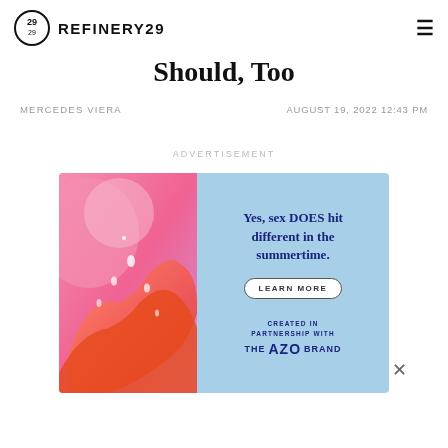REFINERY29
Should, Too
MERCEDES VIERA   AUGUST 19, 2022 12:43 PM
ADVERTISEMENT
[Figure (photo): Advertisement banner for AZO Brand with text 'Yes, sex DOES hit different in the summertime.' with Learn More button. Left side has a pink/orange liquid splash illustration. Bottom reads 'CREATED IN PARTNERSHIP WITH THE AZO BRAND']